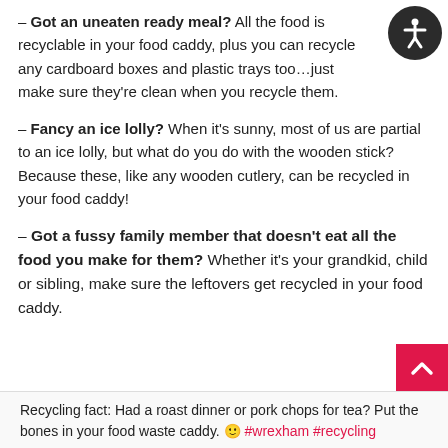– Got an uneaten ready meal? All the food is recyclable in your food caddy, plus you can recycle any cardboard boxes and plastic trays too…just make sure they're clean when you recycle them.
– Fancy an ice lolly? When it's sunny, most of us are partial to an ice lolly, but what do you do with the wooden stick? Because these, like any wooden cutlery, can be recycled in your food caddy!
– Got a fussy family member that doesn't eat all the food you make for them? Whether it's your grandkid, child or sibling, make sure the leftovers get recycled in your food caddy.
Recycling fact: Had a roast dinner or pork chops for tea? Put the bones in your food waste caddy. 🙂 #wrexham #recycling